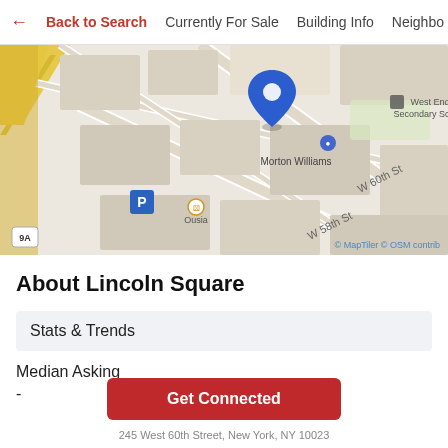← Back to Search   Currently For Sale   Building Info   Neighbo
[Figure (map): Street map showing Lincoln Square area of New York City near West 58th St and West 60th St. A blue map pin marker is visible in the center. Landmarks shown include Morton Williams, West End Secondary School, a parking icon (P), Ousia restaurant, and a route 9A marker. Map credit: © MapTiler © OSM contrib]
About Lincoln Square
Stats & Trends
Median Asking
-
Get Connected
245 West 60th Street, New York, NY 10023